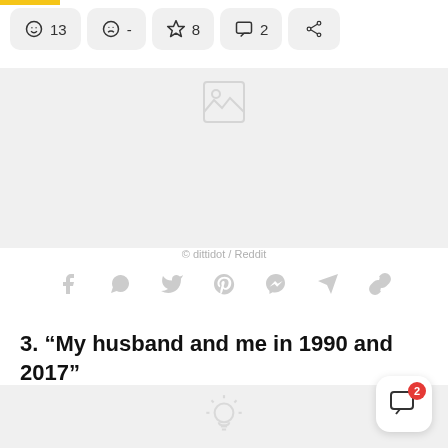[Figure (screenshot): Action bar with reaction buttons: smiley face 13, sad face -, star 8, comment 2, share icon]
[Figure (photo): Partially visible image placeholder with a small icon at top]
© dittidot / Reddit
[Figure (infographic): Social share icons: Facebook, WhatsApp, Twitter, Pinterest, Messenger, Telegram, link]
3. “My husband and me in 1990 and 2017”
[Figure (photo): Bottom image placeholder area with a light bulb icon]
[Figure (infographic): Chat button with badge showing 2 notifications]